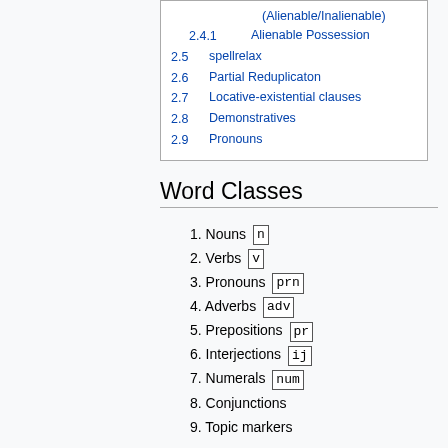(Alienable/Inalienable)
2.4.1  Alienable Possession
2.5  spellrelax
2.6  Partial Reduplicaton
2.7  Locative-existential clauses
2.8  Demonstratives
2.9  Pronouns
Word Classes
1. Nouns n
2. Verbs v
3. Pronouns prn
4. Adverbs adv
5. Prepositions pr
6. Interjections ij
7. Numerals num
8. Conjunctions
9. Topic markers